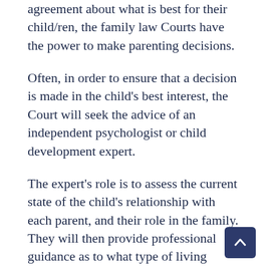agreement about what is best for their child/ren, the family law Courts have the power to make parenting decisions.
Often, in order to ensure that a decision is made in the child's best interest, the Court will seek the advice of an independent psychologist or child development expert.
The expert's role is to assess the current state of the child's relationship with each parent, and their role in the family. They will then provide professional guidance as to what type of living arrangement will best benefit the child going forward.
If you have concerns about parenting arrangements, follow...